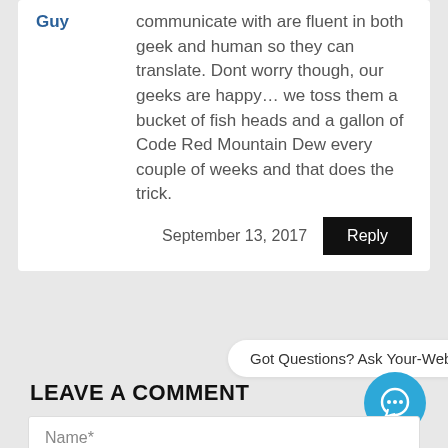Guy
communicate with are fluent in both geek and human so they can translate. Dont worry though, our geeks are happy… we toss them a bucket of fish heads and a gallon of Code Red Mountain Dew every couple of weeks and that does the trick.
September 13, 2017
Reply
Got Questions? Ask Your-Web-Bot
LEAVE A COMMENT
Name*